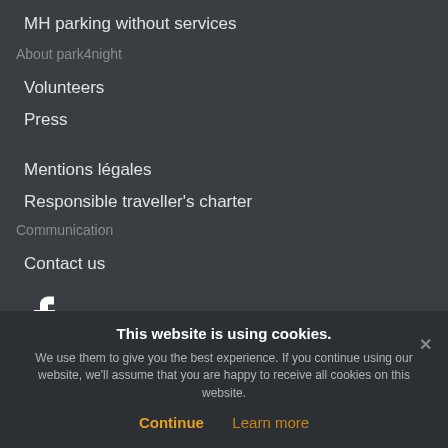MH parking without services
About park4night
Volunteers
Press
Mentions légales
Responsible traveller's charter
Communication
Contact us
[Figure (logo): Facebook logo icon in white]
[Figure (logo): Twitter bird logo icon (faded)]
[Figure (logo): YouTube logo icon (faded)]
This website is using cookies. We use them to give you the best experience. If you continue using our website, we'll assume that you are happy to receive all cookies on this website.
Continue   Learn more